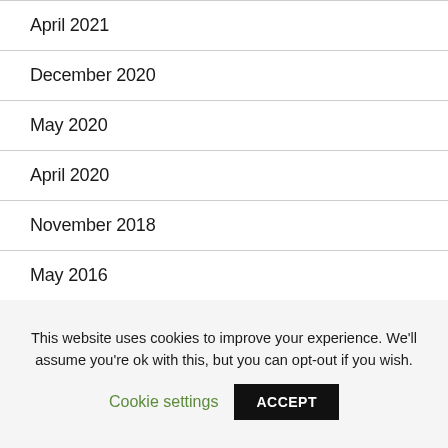April 2021
December 2020
May 2020
April 2020
November 2018
May 2016
November 2015
August 2015
This website uses cookies to improve your experience. We'll assume you're ok with this, but you can opt-out if you wish.
Cookie settings
ACCEPT